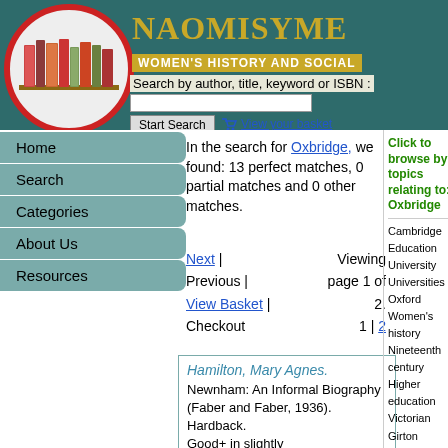[Figure (logo): Books on shelf inside red circle on teal background with site title NAOMISYME and subtitle WOMEN'S HISTORY AND SOCIAL]
Search by author, title, keyword or ISBN :
Start Search | View your basket
Home
Search
Categories
About Us
Resources
In the search for Oxbridge, we found: 13 perfect matches, 0 partial matches and 0 other matches.
Next | Viewing Previous | page 1 of View Basket | 2. Checkout 1 | 2
Hamilton, Mary Agnes. Newnham: An Informal Biography (Faber and Faber, 1936). Hardback. Good+ in slightly
Click to browse by topics relating to: Oxbridge
Cambridge
Education
University
Universities
Oxford
Women's history
Nineteenth century
Higher education
Victorian
Girton College
Academia
Cambridge University
Biography